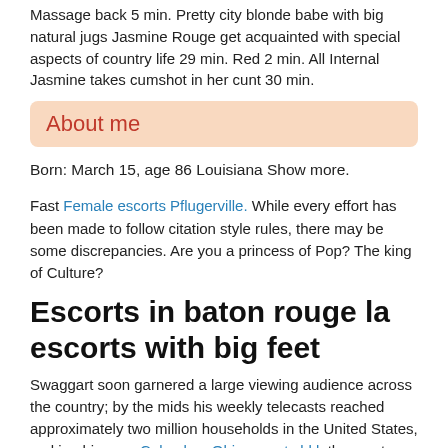Massage back 5 min. Pretty city blonde babe with big natural jugs Jasmine Rouge get acquainted with special aspects of country life 29 min. Red 2 min. All Internal Jasmine takes cumshot in her cunt 30 min.
About me
Born: March 15, age 86 Louisiana Show more.
Fast Female escorts Pflugerville. While every effort has been made to follow citation style rules, there may be some discrepancies. Are you a princess of Pop? The king of Culture?
Escorts in baton rouge la escorts with big feet
Swaggart soon garnered a large viewing audience across the country; by the mids his weekly telecasts reached approximately two million households in the United States, making him one Columbus Ohio escorts bkk the most popular and successful televangelists of the era. Pop Culture Quiz.